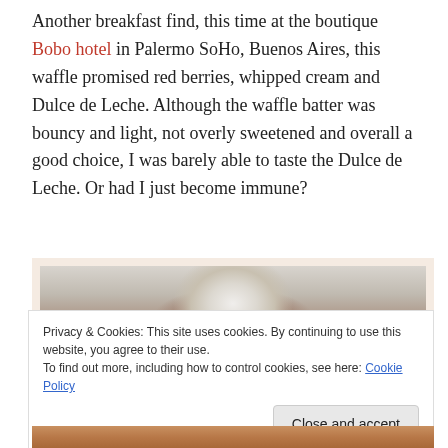Another breakfast find, this time at the boutique Bobo hotel in Palermo SoHo, Buenos Aires, this waffle promised red berries, whipped cream and Dulce de Leche. Although the waffle batter was bouncy and light, not overly sweetened and overall a good choice, I was barely able to taste the Dulce de Leche. Or had I just become immune?
[Figure (photo): Photo of a waffle with whipped cream topping at a boutique hotel, partially visible]
Privacy & Cookies: This site uses cookies. By continuing to use this website, you agree to their use.
To find out more, including how to control cookies, see here: Cookie Policy